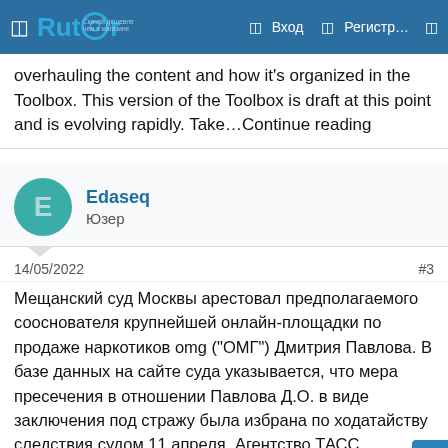Rutor — Вход — Регистр...
overhauling the content and how it's organized in the Toolbox. This version of the Toolbox is draft at this point and is evolving rapidly. Take…Continue reading
Edaseq
Юзер
14/05/2022  #3
Мещанский суд Москвы арестовал предполагаемого сооснователя крупнейшей онлайн-площадки по продаже наркотиков omg ("ОМГ") Дмитрия Павлова. В базе данных на сайте суда указывается, что мера пресечения в отношении Павлова Д.О. в виде заключения под стражу была избрана по ходатайству следствия судом 11 апреля. Агентство ТАСС сообщает 14 апреля, что речь идет именно об одном из основателей "Гидры", у которого есть 10 дней на обжалование судебного решения, пока еще не